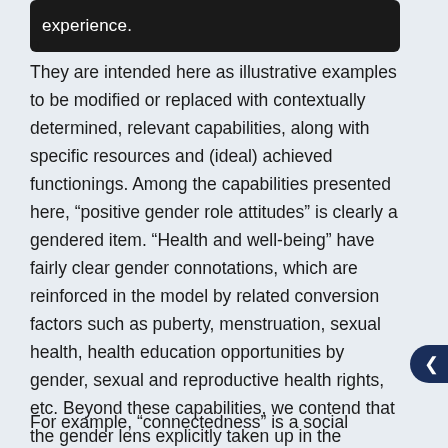[Figure (other): Black rounded rectangle banner partially visible at top, containing truncated white text 'experience.' with a partial letter 'o' visible at bottom left]
They are intended here as illustrative examples to be modified or replaced with contextually determined, relevant capabilities, along with specific resources and (ideal) achieved functionings. Among the capabilities presented here, “positive gender role attitudes” is clearly a gendered item. “Health and well-being” have fairly clear gender connotations, which are reinforced in the model by related conversion factors such as puberty, menstruation, sexual health, health education opportunities by gender, sexual and reproductive health rights, etc. Beyond these capabilities, we contend that the gender lens explicitly taken up in the analysis of conversion factors will help researchers and practitioners critically analyze how gender interacts with other capabilities less obviously gendered.
For example, “connectedness” is a social